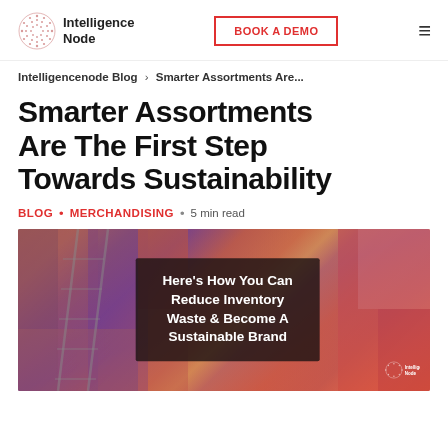Intelligence Node | BOOK A DEMO
Intelligencenode Blog > Smarter Assortments Are...
Smarter Assortments Are The First Step Towards Sustainability
BLOG • MERCHANDISING • 5 min read
[Figure (photo): Photo of piled colorful textile/fabric waste with overlay text: Here's How You Can Reduce Inventory Waste & Become A Sustainable Brand. Intelligence Node logo at bottom right.]